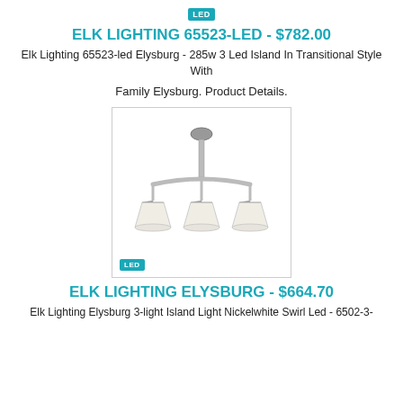[Figure (other): LED badge/label at top of page (teal background, white LED text)]
ELK LIGHTING 65523-LED - $782.00
Elk Lighting 65523-led Elysburg - 285w 3 Led Island In Transitional Style With
Family Elysburg. Product Details.
[Figure (photo): Product photo of a 3-light island chandelier with curved nickel arms and white cone shades, with LED badge in lower left corner]
ELK LIGHTING ELYSBURG - $664.70
Elk Lighting Elysburg 3-light Island Light Nickelwhite Swirl Led - 6502-3-